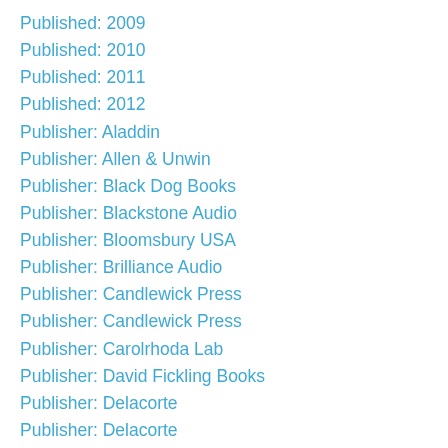Published: 2009
Published: 2010
Published: 2011
Published: 2012
Publisher: Aladdin
Publisher: Allen & Unwin
Publisher: Black Dog Books
Publisher: Blackstone Audio
Publisher: Bloomsbury USA
Publisher: Brilliance Audio
Publisher: Candlewick Press
Publisher: Candlewick Press
Publisher: Carolrhoda Lab
Publisher: David Fickling Books
Publisher: Delacorte
Publisher: Delacorte
Publisher: Del Rey
Publisher: Dial
Publisher: Dutton
Publisher: Farrar Straus And Giroux
Publisher: Farrar & Straus